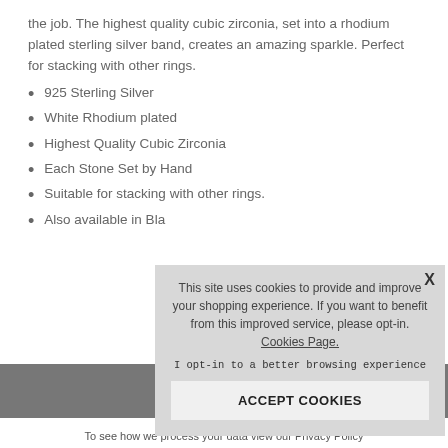the job. The highest quality cubic zirconia, set into a rhodium plated sterling silver band, creates an amazing sparkle. Perfect for stacking with other rings.
925 Sterling Silver
White Rhodium plated
Highest Quality Cubic Zirconia
Each Stone Set by Hand
Suitable for stacking with other rings.
Also available in Bla...
[Figure (screenshot): Cookie consent overlay popup with text: This site uses cookies to provide and improve your shopping experience. If you want to benefit from this improved service, please opt-in. Cookies Page. I opt-in to a better browsing experience. ACCEPT COOKIES button. Close X button.]
f
Enter Y...
To see how we process your data view our Privacy Policy